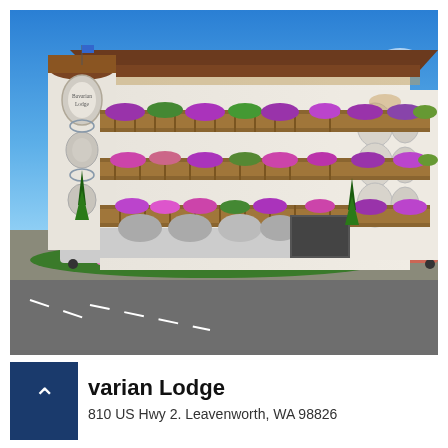[Figure (photo): Exterior photo of Bavarian Lodge, a multi-story hotel with Bavarian/Alpine architecture featuring flower-filled balconies, white stucco walls with decorative painted details, wooden balconies overflowing with colorful flowers (pink, purple, red), a round tower with 'Bavarian Lodge' sign, terracotta-colored roof with wide overhanging eaves, surrounded by colorful flower gardens in the foreground, parked cars visible, and a clear blue sky.]
varian Lodge
810 US Hwy 2. Leavenworth, WA 98826